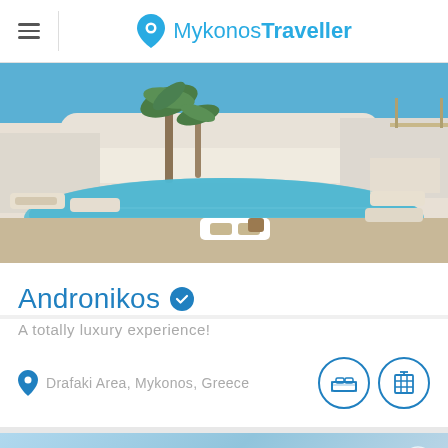Mykonos Traveller
[Figure (photo): Luxury hotel pool area with white sun loungers, palm trees, and a sparkling turquoise pool surrounded by white Cycladic architecture]
Andronikos
A totally luxury experience!
Drafaki Area, Mykonos, Greece
[Figure (photo): Featured section at the bottom showing a partial view of a luxury hotel with a heart/favorite button]